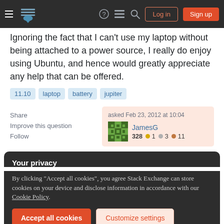Stack Exchange navigation bar with hamburger menu, logo, icons, Log in, Sign up buttons
Ignoring the fact that I can't use my laptop without being attached to a power source, I really do enjoy using Ubuntu, and hence would greatly appreciate any help that can be offered.
11.10
laptop
battery
jupiter
Share
Improve this question
Follow
asked Feb 23, 2012 at 10:04
JamesG
328 ●1 ●3 ●11
Your privacy
By clicking "Accept all cookies", you agree Stack Exchange can store cookies on your device and disclose information in accordance with our Cookie Policy.
Accept all cookies   Customize settings
wireless active, the battery indicator showed '0:01 left'